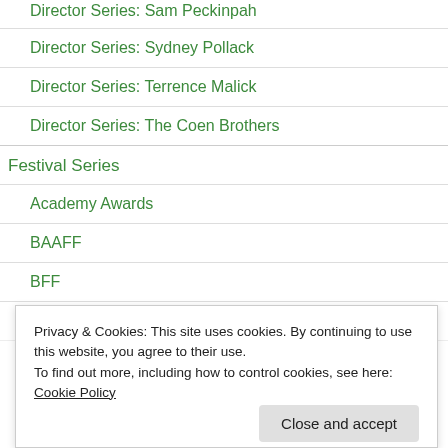Director Series: Sam Peckinpah
Director Series: Sydney Pollack
Director Series: Terrence Malick
Director Series: The Coen Brothers
Festival Series
Academy Awards
BAAFF
BFF
EMIFF
Privacy & Cookies: This site uses cookies. By continuing to use this website, you agree to their use.
To find out more, including how to control cookies, see here: Cookie Policy
Close and accept